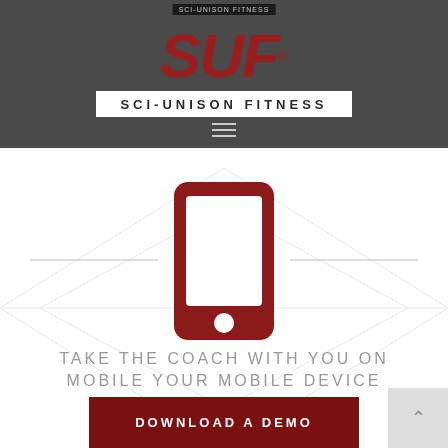[Figure (logo): SUF Sci-Unison Fitness logo on dark gray header background with red bold italic SUF text and white fitness bar label]
[Figure (illustration): Dark red smartphone/mobile phone icon centered with horizontal lines extending left and right, diamond watermark pattern in background]
TAKE THE COACH WITH YOU ON MOBILE YOUR MOBILE DEVICE
[Figure (other): Dark red download button with text DOWNLOAD A DEMO and a light gray back-to-top arrow button in bottom right corner]